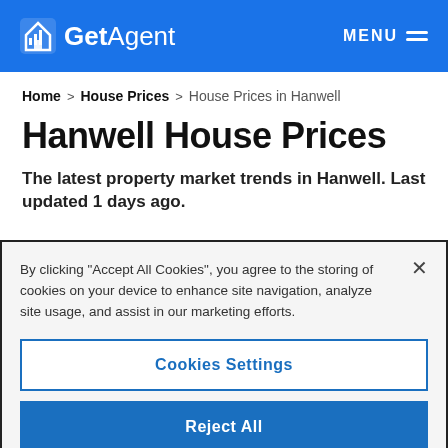GetAgent — MENU
Home > House Prices > House Prices in Hanwell
Hanwell House Prices
The latest property market trends in Hanwell. Last updated 1 days ago.
By clicking "Accept All Cookies", you agree to the storing of cookies on your device to enhance site navigation, analyze site usage, and assist in our marketing efforts.
Cookies Settings
Reject All